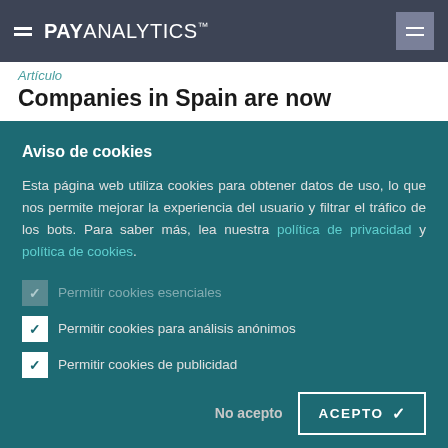PAYANALYTICS™
Artículo
Companies in Spain are now
Aviso de cookies
Esta página web utiliza cookies para obtener datos de uso, lo que nos permite mejorar la experiencia del usuario y filtrar el tráfico de los bots. Para saber más, lea nuestra política de privacidad y política de cookies.
✓ Permitir cookies esenciales
✓ Permitir cookies para análisis anónimos
✓ Permitir cookies de publicidad
No acepto
ACEPTO ✓